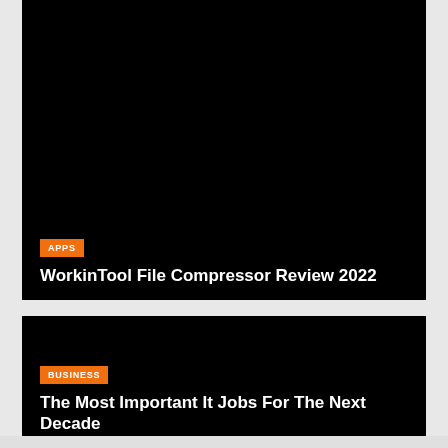[Figure (screenshot): Black image card with orange APPS category badge and article title overlay at bottom]
APPS
WorkinTool File Compressor Review 2022
[Figure (screenshot): Black image card with orange BUSINESS category badge and article title overlay at bottom]
BUSINESS
The Most Important It Jobs For The Next Decade